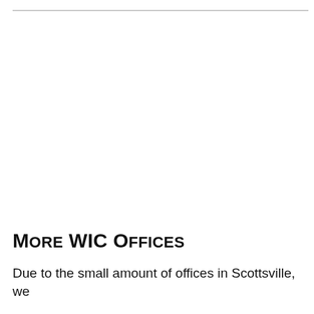More WIC Offices
Due to the small amount of offices in Scottsville, we